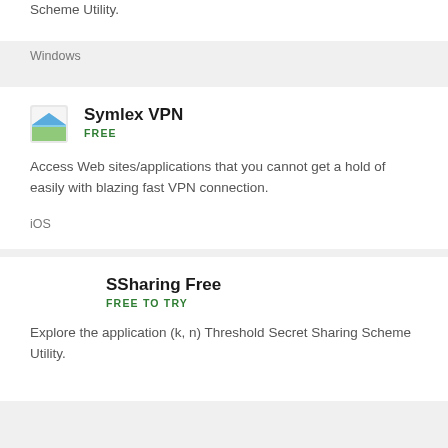Scheme Utility.
Windows
Symlex VPN
FREE
Access Web sites/applications that you cannot get a hold of easily with blazing fast VPN connection.
iOS
SSharing Free
FREE TO TRY
Explore the application (k, n) Threshold Secret Sharing Scheme Utility.